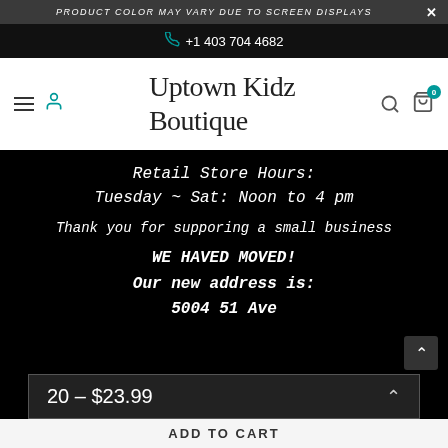PRODUCT COLOR MAY VARY DUE TO SCREEN DISPLAYS
+1 403 704 4682
Uptown Kidz Boutique
Retail Store Hours:
Tuesday ~ Sat: Noon to 4 pm

Thank you for supporing a small business

WE HAVED MOVED!
Our new address is:
5004 51 Ave
20 - $23.99
ADD TO CART